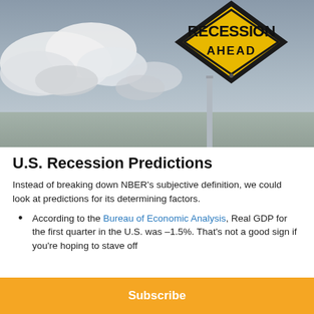[Figure (photo): A yellow diamond-shaped road sign reading 'RECESSION AHEAD' against a dramatic cloudy grey sky background.]
U.S. Recession Predictions
Instead of breaking down NBER's subjective definition, we could look at predictions for its determining factors.
According to the Bureau of Economic Analysis, Real GDP for the first quarter in the U.S. was –1.5%. That's not a good sign if you're hoping to stave off
Subscribe